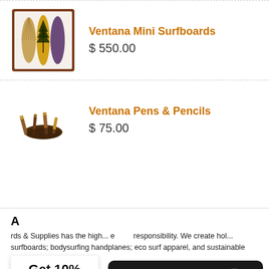[Figure (photo): Framed mini surfboards art piece with three wooden surfboards displayed in a brown frame]
Ventana Mini Surfboards
$ 550.00
[Figure (photo): Wooden pens and pencils on a dark wood holder/base]
Ventana Pens & Pencils
$ 75.00
Get 10% Off!
rds & Supplies has the high... responsibility. We create hol... surfboards; bodysurfing handplanes; eco surf apparel, and sustainable surf
Questions? We can help. Chat with us now.